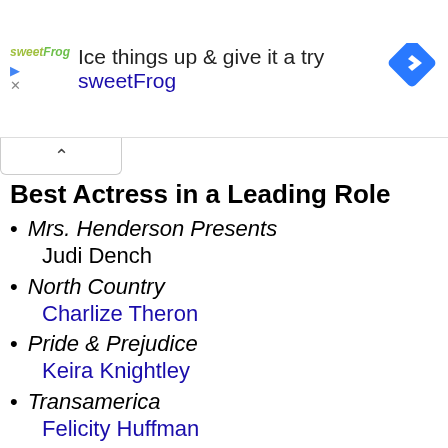[Figure (other): Advertisement banner for sweetFrog frozen yogurt: headline 'Ice things up & give it a try', brand name 'sweetFrog', logo, play/close icons, and a blue diamond arrow icon]
Best Actress in a Leading Role
Mrs. Henderson Presents — Judi Dench
North Country — Charlize Theron
Pride & Prejudice — Keira Knightley
Transamerica — Felicity Huffman
Walk the Line